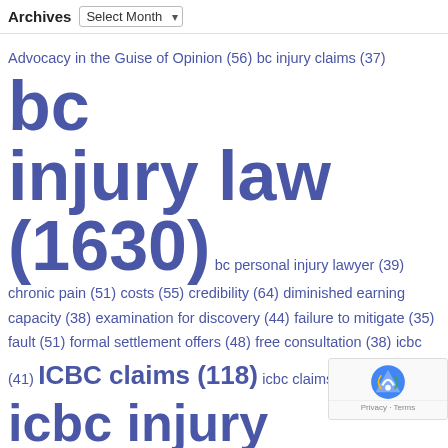Archives  Select Month
Advocacy in the Guise of Opinion (56)  bc injury claims (37)  bc injury law (1630)  bc personal injury lawyer (39)  chronic pain (51)  costs (55)  credibility (64)  diminished earning capacity (38)  examination for discovery (44)  failure to mitigate (35)  fault (51)  formal settlement offers (48)  free consultation (38)  icbc (41)  ICBC claims (118)  icbc claims lawyer (50)  icbc injury claims (161)  independent medical exams (44)  liability (73)  litigation privilege (43)  LVI (31)  Master Bouck (38)  Mr. Justice Smith (44)  neck injury (43)  New BC Supreme Court Civil Rules (30)  non-pecuniary damages (61)  pain and suffering (50)  Rule 7 (112)  Rule 7-1 (35)  Rule 7-6 (37)  Rule 7-6(1) (40)  Rule 9 (106)  Rule 9-1 (69)  Rule 9-1(5) (48)  Rule 9-1(6) (50)  Rule 11-6 (39)  Rule 12 (68)  RUle 14 (62)  Rule 14-1 (60)  Rul...